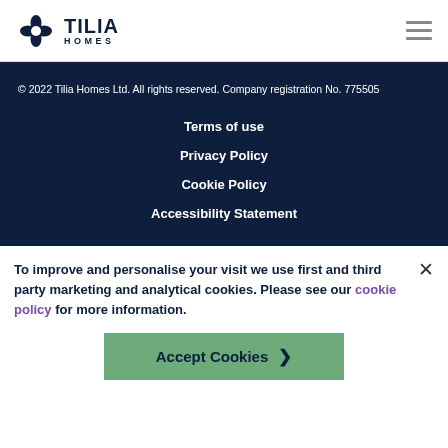[Figure (logo): Tilia Homes logo with flower/snowflake icon and TILIA HOMES text in dark navy]
© 2022 Tilia Homes Ltd. All rights reserved. Company registration No. 775505
Terms of use
Privacy Policy
Cookie Policy
Accessibility Statement
To improve and personalise your visit we use first and third party marketing and analytical cookies. Please see our cookie policy for more information.
Accept Cookies >